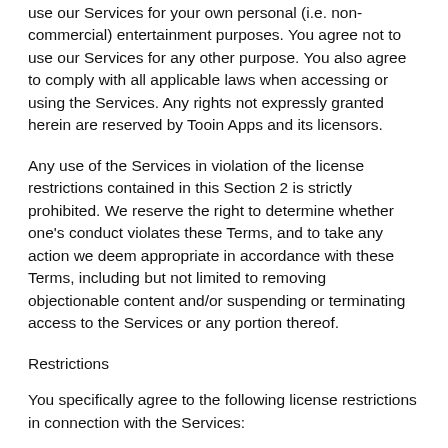use our Services for your own personal (i.e. non-commercial) entertainment purposes. You agree not to use our Services for any other purpose. You also agree to comply with all applicable laws when accessing or using the Services. Any rights not expressly granted herein are reserved by Tooin Apps and its licensors.
Any use of the Services in violation of the license restrictions contained in this Section 2 is strictly prohibited. We reserve the right to determine whether one's conduct violates these Terms, and to take any action we deem appropriate in accordance with these Terms, including but not limited to removing objectionable content and/or suspending or terminating access to the Services or any portion thereof.
Restrictions
You specifically agree to the following license restrictions in connection with the Services:
If you are under the age of 18, or under the age of legal majority in your jurisdiction, you may not access or use